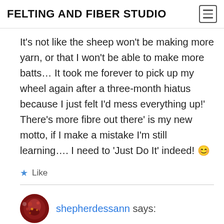FELTING AND FIBER STUDIO
It’s not like the sheep won’t be making more yarn, or that I won’t be able to make more batts… It took me forever to pick up my wheel again after a three-month hiatus because I just felt I’d mess everything up!‘ There’s more fibre out there’ is my new motto, if I make a mistake I’m still learning…. I need to ‘Just Do It’ indeed! 😊
Like
shepherdessann says: